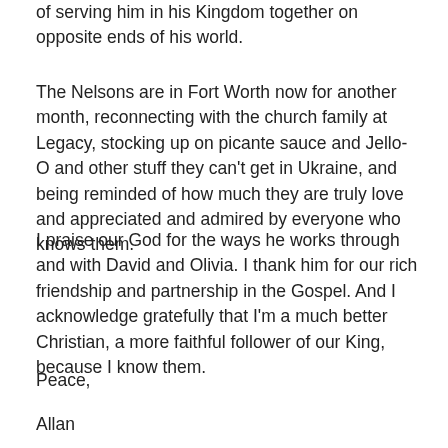of serving him in his Kingdom together on opposite ends of his world.
The Nelsons are in Fort Worth now for another month, reconnecting with the church family at Legacy, stocking up on picante sauce and Jello-O and other stuff they can't get in Ukraine, and being reminded of how much they are truly love and appreciated and admired by everyone who knows them.
I praise our God for the ways he works through and with David and Olivia. I thank him for our rich friendship and partnership in the Gospel. And I acknowledge gratefully that I'm a much better Christian, a more faithful follower of our King, because I know them.
Peace,
Allan